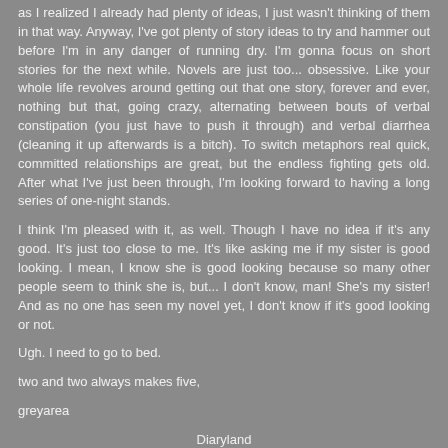as I realized I already had plenty of ideas, I just wasn't thinking of them in that way. Anyway, I've got plenty of story ideas to try and hammer out before I'm in any danger of running dry. I'm gonna focus on short stories for the next while. Novels are just too... obsessive. Like your whole life revolves around getting out that one story, forever and ever, nothing but that, going crazy, alternating between bouts of verbal constipation (you just have to push it through) and verbal diarrhea (cleaning it up afterwards is a bitch). To switch metaphors real quick, committed relationships are great, but the endless fighting gets old. After what I've just been through, I'm looking forward to having a long series of one-night stands.
I think I'm pleased with it, as well. Though I have no idea if it's any good. It's just too close to me. It's like asking me if my sister is good looking. I mean, I know she is good looking because so many other people seem to think she is, but... I don't know, man! She's my sister! And as no one has seen my novel yet, I don't know if it's good looking or not.
Ugh. I need to go to bed.
two and two always makes five,
greyarea
Diaryland